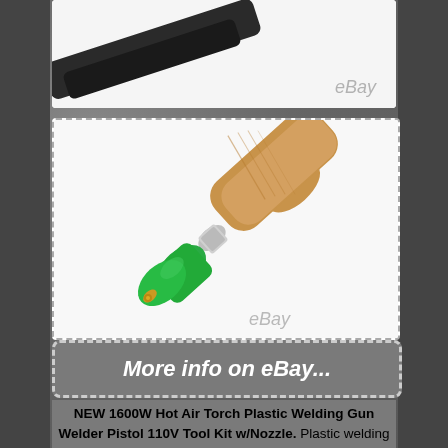[Figure (photo): Partial view of a dark-colored handle/tool on white background with eBay watermark]
[Figure (photo): A green silicone rubber roller with wooden handle tool, shown against white background with eBay watermark, dashed border]
[Figure (other): More info on eBay... button with dashed border]
NEW 1600W Hot Air Torch Plastic Welding Gun Welder Pistol 110V Tool Kit w/Nozzle. Plastic welding guns have been widely used in highways